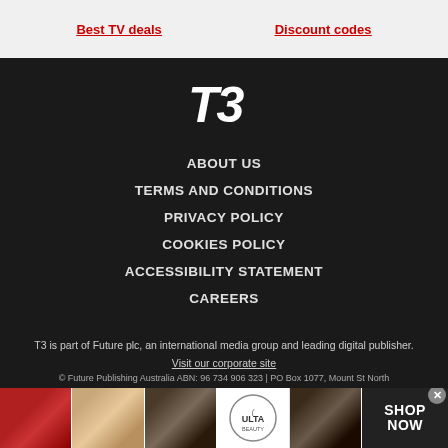Best TV deals   Discount codes
[Figure (logo): T3 logo in white italic bold font on dark background]
ABOUT US
TERMS AND CONDITIONS
PRIVACY POLICY
COOKIES POLICY
ACCESSIBILITY STATEMENT
CAREERS
T3 is part of Future plc, an international media group and leading digital publisher.
Visit our corporate site
© Future Publishing Australia ABN: 96 734 906 323 | PO Box 1077, Mount St North...
[Figure (photo): Advertisement strip with makeup/beauty images and Ulta Beauty logo with SHOP NOW text]